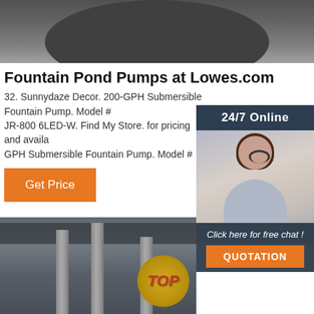[Figure (photo): Top view of dark industrial pump machinery against gray background]
Fountain Pond Pumps at Lowes.com
32. Sunnydaze Decor. 200-GPH Submersible Fountain Pump. Model # JR-800 6LED-W. Find My Store. for pricing and availability. GPH Submersible Fountain Pump. Model # …
Get Price
[Figure (photo): Customer service woman with headset, 24/7 Online overlay panel with dark background]
24/7 Online
Click here for free chat !
QUOTATION
[Figure (photo): Industrial factory interior with large metal cylindrical pumps/pillars and warehouse structure]
[Figure (logo): Gold circular TOP badge/logo in bottom right corner of factory photo]